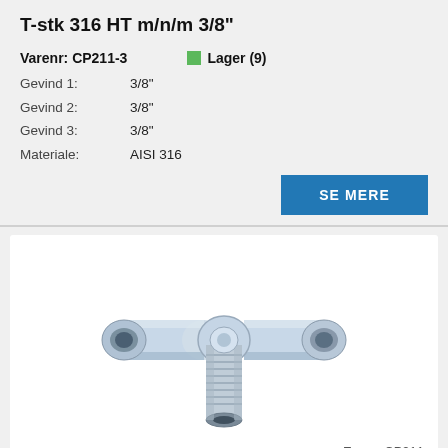T-stk 316 HT m/n/m 3/8"
Varenr: CP211-3
Lager (9)
Gevind 1: 3/8"
Gevind 2: 3/8"
Gevind 3: 3/8"
Materiale: AISI 316
SE MERE
[Figure (photo): Stainless steel T-fitting connector (T-stk 316 HT m/n/m), showing a T-shaped pipe fitting with threaded male center port and female connectors on two horizontal ends, chrome/silver metallic finish.]
Emne: CP211
T-stk 316 HT m/n/m 1/2"